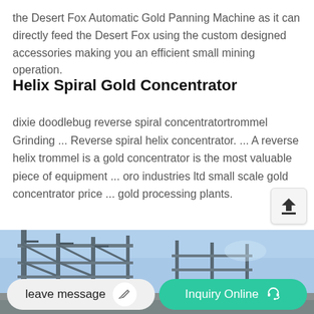the Desert Fox Automatic Gold Panning Machine as it can directly feed the Desert Fox using the custom designed accessories making you an efficient small mining operation.
Helix Spiral Gold Concentrator
dixie doodlebug reverse spiral concentratortrommel Grinding ... Reverse spiral helix concentrator. ... A reverse helix trommel is a gold concentrator is the most valuable piece of equipment ... oro industries ltd small scale gold concentrator price ... gold processing plants.
[Figure (photo): Industrial mining equipment - scaffold or conveyor structure photographed against a blue sky]
leave message   Inquiry Online